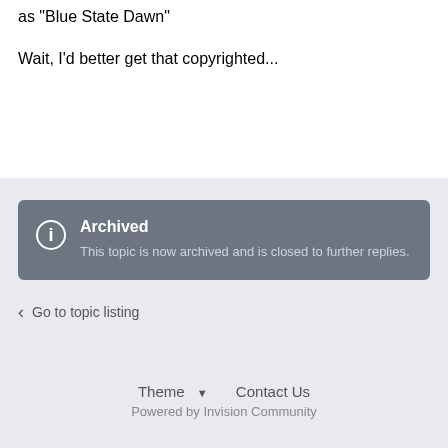as "Blue State Dawn"
Wait, I'd better get that copyrighted...
Archived
This topic is now archived and is closed to further replies.
Go to topic listing
Theme ▾   Contact Us
Powered by Invision Community